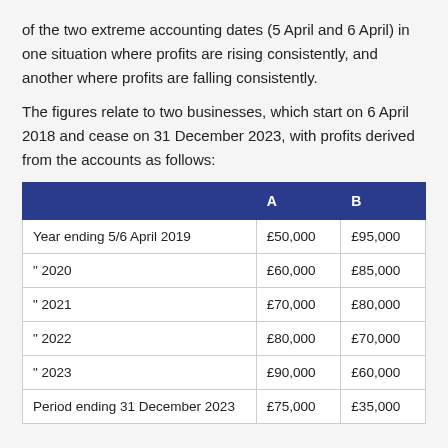of the two extreme accounting dates (5 April and 6 April) in one situation where profits are rising consistently, and another where profits are falling consistently.
The figures relate to two businesses, which start on 6 April 2018 and cease on 31 December 2023, with profits derived from the accounts as follows:
|  | A | B |
| --- | --- | --- |
| Year ending 5/6 April 2019 | £50,000 | £95,000 |
| " 2020 | £60,000 | £85,000 |
| " 2021 | £70,000 | £80,000 |
| " 2022 | £80,000 | £70,000 |
| " 2023 | £90,000 | £60,000 |
| Period ending 31 December 2023 | £75,000 | £35,000 |